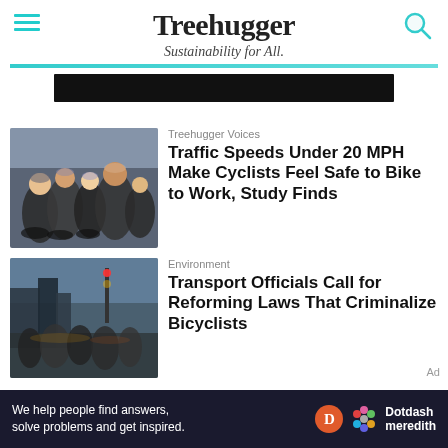Treehugger — Sustainability for All.
[Figure (photo): Dark banner image at top of page]
[Figure (photo): Group of cyclists riding together in a city]
Treehugger Voices
Traffic Speeds Under 20 MPH Make Cyclists Feel Safe to Bike to Work, Study Finds
[Figure (photo): Crowd of cyclists or pedestrians at a street intersection at night]
Environment
Transport Officials Call for Reforming Laws That Criminalize Bicyclists
We help people find answers, solve problems and get inspired. Dotdash meredith